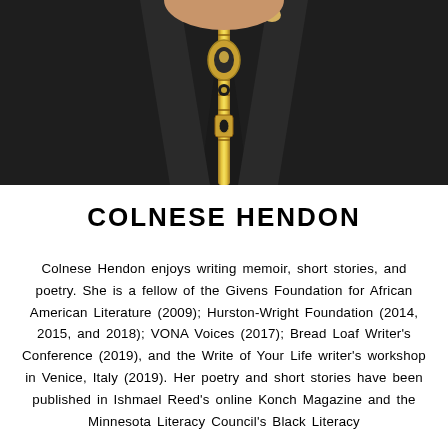[Figure (photo): Close-up photo of Colnese Hendon wearing a black zip-up jacket with gold zipper and gold bead necklace]
COLNESE HENDON
Colnese Hendon enjoys writing memoir, short stories, and poetry. She is a fellow of the Givens Foundation for African American Literature (2009); Hurston-Wright Foundation (2014, 2015, and 2018); VONA Voices (2017); Bread Loaf Writer's Conference (2019), and the Write of Your Life writer's workshop in Venice, Italy (2019). Her poetry and short stories have been published in Ishmael Reed's online Konch Magazine and the Minnesota Literacy Council's Black Literacy...